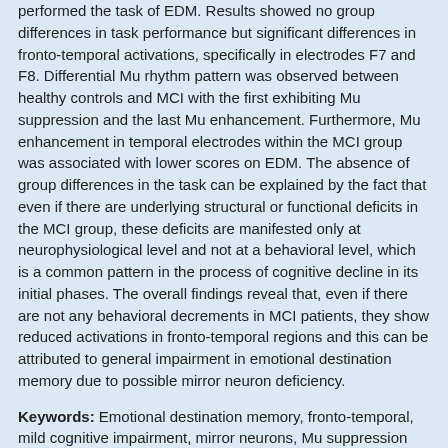performed the task of EDM. Results showed no group differences in task performance but significant differences in fronto-temporal activations, specifically in electrodes F7 and F8. Differential Mu rhythm pattern was observed between healthy controls and MCI with the first exhibiting Mu suppression and the last Mu enhancement. Furthermore, Mu enhancement in temporal electrodes within the MCI group was associated with lower scores on EDM. The absence of group differences in the task can be explained by the fact that even if there are underlying structural or functional deficits in the MCI group, these deficits are manifested only at neurophysiological level and not at a behavioral level, which is a common pattern in the process of cognitive decline in its initial phases. The overall findings reveal that, even if there are not any behavioral decrements in MCI patients, they show reduced activations in fronto-temporal regions and this can be attributed to general impairment in emotional destination memory due to possible mirror neuron deficiency.
Keywords: Emotional destination memory, fronto-temporal, mild cognitive impairment, mirror neurons, Mu suppression
DOI: 10.3233/JAD-190311